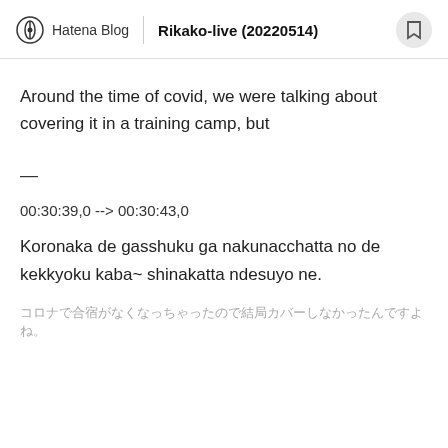Hatena Blog | Rikako-live (20220514)
Around the time of covid, we were talking about covering it in a training camp, but
—
00:30:39,0 --> 00:30:43,0
Koronaka de gasshuku ga nakunacchatta no de kekkyoku kaba~ shinakatta ndesuyo ne.
コロナで合宿がなくなっちゃったので結局カバーしなかったんですよ ね。